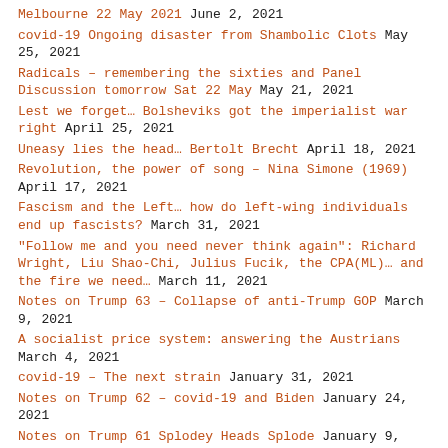Melbourne 22 May 2021 June 2, 2021
covid-19 Ongoing disaster from Shambolic Clots May 25, 2021
Radicals – remembering the sixties and Panel Discussion tomorrow Sat 22 May May 21, 2021
Lest we forget… Bolsheviks got the imperialist war right April 25, 2021
Uneasy lies the head… Bertolt Brecht April 18, 2021
Revolution, the power of song – Nina Simone (1969) April 17, 2021
Fascism and the Left… how do left-wing individuals end up fascists? March 31, 2021
"Follow me and you need never think again": Richard Wright, Liu Shao-Chi, Julius Fucik, the CPA(ML)… and the fire we need… March 11, 2021
Notes on Trump 63 – Collapse of anti-Trump GOP March 9, 2021
A socialist price system: answering the Austrians March 4, 2021
covid-19 – The next strain January 31, 2021
Notes on Trump 62 – covid-19 and Biden January 24, 2021
Notes on Trump 61 Splodey Heads Splode January 9, 2021
Notes on Trump 60 – Georgia and Serendipity January 6, 2021